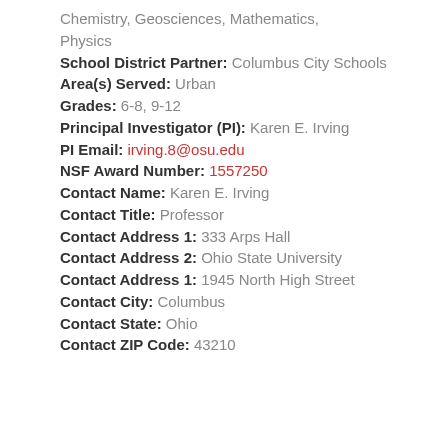Chemistry, Geosciences, Mathematics, Physics
School District Partner: Columbus City Schools
Area(s) Served: Urban
Grades: 6-8, 9-12
Principal Investigator (PI): Karen E. Irving
PI Email: irving.8@osu.edu
NSF Award Number: 1557250
Contact Name: Karen E. Irving
Contact Title: Professor
Contact Address 1: 333 Arps Hall
Contact Address 2: Ohio State University
Contact Address 1: 1945 North High Street
Contact City: Columbus
Contact State: Ohio
Contact ZIP Code: 43210